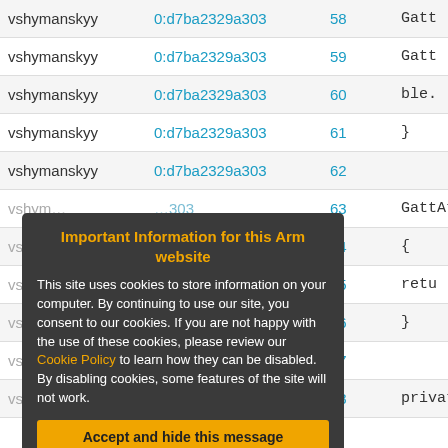| user | hash | line | code |
| --- | --- | --- | --- |
| vshymanskyy | 0:d7ba2329a303 | 58 | Gatt… |
| vshymanskyy | 0:d7ba2329a303 | 59 | Gatt… |
| vshymanskyy | 0:d7ba2329a303 | 60 | ble.… |
| vshymanskyy | 0:d7ba2329a303 | 61 | } |
| vshymanskyy | 0:d7ba2329a303 | 62 |  |
| vshymanskyy | 0:d7ba2329a303 | 63 | GattAttr… |
| vshymanskyy | 0:d7ba2329a303 | 64 | { |
| vshymanskyy | 0:d7ba2329a303 | 65 | retu… |
| vshymanskyy | 0:d7ba2329a303 | 66 | } |
| vshymanskyy | 0:d7ba2329a303 | 67 |  |
| vshymanskyy | 0:d7ba2329a303 | 68 | private: |
Important Information for this Arm website
This site uses cookies to store information on your computer. By continuing to use our site, you consent to our cookies. If you are not happy with the use of these cookies, please review our Cookie Policy to learn how they can be disabled. By disabling cookies, some features of the site will not work.
Accept and hide this message